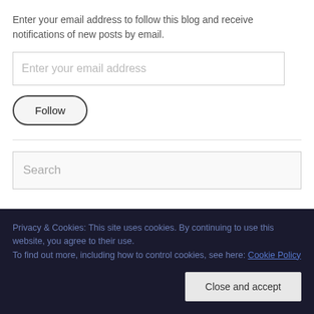Enter your email address to follow this blog and receive notifications of new posts by email.
Enter your email address
Follow
Search
Privacy & Cookies: This site uses cookies. By continuing to use this website, you agree to their use.
To find out more, including how to control cookies, see here: Cookie Policy
Close and accept